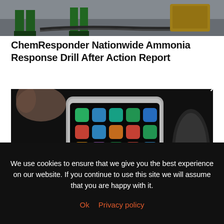[Figure (photo): Top portion of an outdoor scene with people in safety gear/green boots on pavement with equipment, cropped to show only feet and lower legs area.]
ChemResponder Nationwide Ammonia Response Drill After Action Report
[Figure (photo): Close-up photograph of a smartphone with colorful app icons displayed on the screen, held in a dark environment.]
We use cookies to ensure that we give you the best experience on our website. If you continue to use this site we will assume that you are happy with it.
Ok   Privacy policy